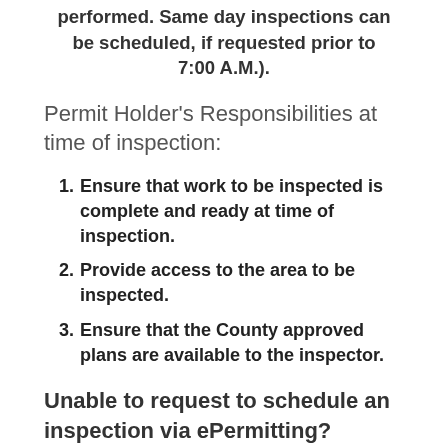performed. Same day inspections can be scheduled, if requested prior to 7:00 A.M.).
Permit Holder's Responsibilities at time of inspection:
Ensure that work to be inspected is complete and ready at time of inspection.
Provide access to the area to be inspected.
Ensure that the County approved plans are available to the inspector.
Unable to request to schedule an inspection via ePermitting? Please review building permit for property IVR number and the